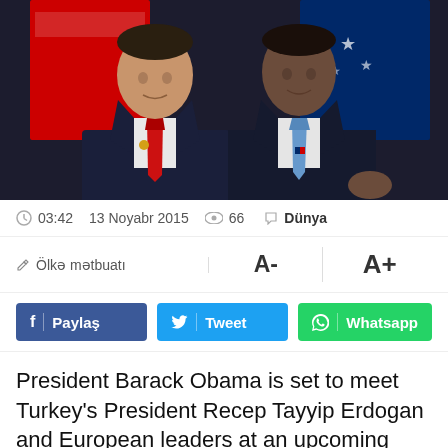[Figure (photo): Two men in dark suits standing side by side in front of flags. Left man wearing red tie with gold lapel pin, right man wearing blue tie with American flag pin.]
03:42   13 Noyabr 2015   66   Dünya
Ölkə mətbuatı   A-   A+
f  Paylaş   Tweet   Whatsapp
President Barack Obama is set to meet Turkey's President Recep Tayyip Erdogan and European leaders at an upcoming summit but Russian President Vladimir